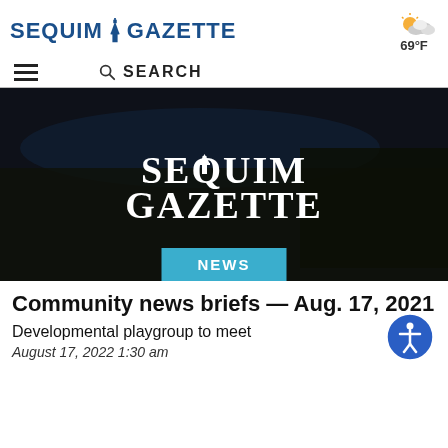SEQUIM GAZETTE — 69°F
[Figure (logo): Sequim Gazette newspaper logo with lighthouse icon between SEQUIM and GAZETTE in blue bold text]
[Figure (infographic): Weather icon showing partly cloudy sun with 69°F temperature]
[Figure (infographic): Hamburger menu icon (three horizontal lines) and search bar with magnifying glass and SEARCH label]
[Figure (photo): Aerial dark photo of Sequim/coastal town at dusk with SEQUIM GAZETTE logo overlaid in white serif text, and a teal NEWS badge at the bottom center]
Community news briefs — Aug. 17, 2021
Developmental playgroup to meet
August 17, 2022 1:30 am